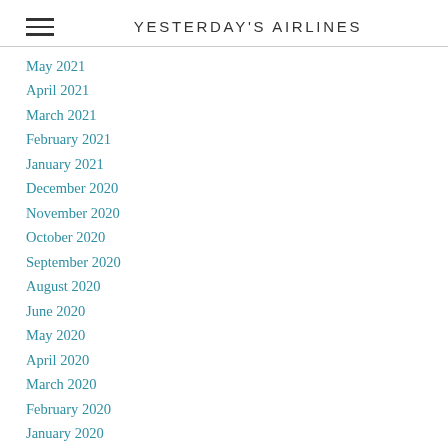YESTERDAY'S AIRLINES
May 2021
April 2021
March 2021
February 2021
January 2021
December 2020
November 2020
October 2020
September 2020
August 2020
June 2020
May 2020
April 2020
March 2020
February 2020
January 2020
December 2019